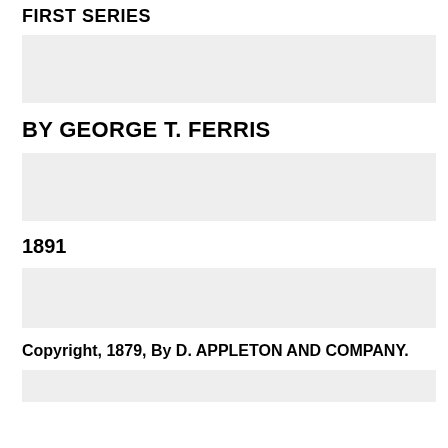FIRST SERIES
[Figure (other): Gray placeholder bar 1]
BY GEORGE T. FERRIS
[Figure (other): Gray placeholder bar 2]
1891
[Figure (other): Gray placeholder bar 3]
Copyright, 1879, By D. APPLETON AND COMPANY.
[Figure (other): Gray placeholder bar 4]